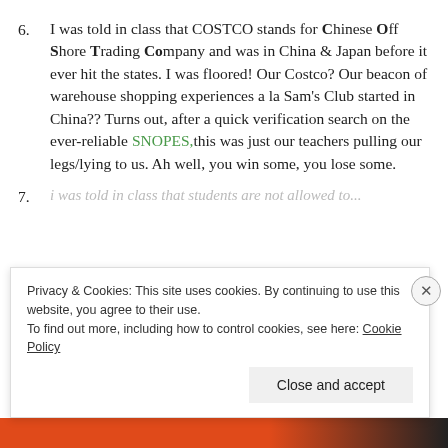I was told in class that COSTCO stands for Chinese Off Shore Trading Company and was in China & Japan before it ever hit the states. I was floored! Our Costco? Our beacon of warehouse shopping experiences a la Sam's Club started in China?? Turns out, after a quick verification search on the ever-reliable SNOPES,this was just our teachers pulling our legs/lying to us. Ah well, you win some, you lose some.
[partial, obscured by cookie banner]
Privacy & Cookies: This site uses cookies. By continuing to use this website, you agree to their use. To find out more, including how to control cookies, see here: Cookie Policy
Close and accept